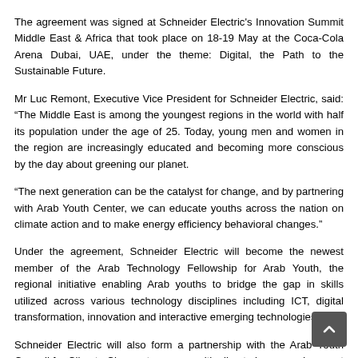The agreement was signed at Schneider Electric's Innovation Summit Middle East & Africa that took place on 18-19 May at the Coca-Cola Arena Dubai, UAE, under the theme: Digital, the Path to the Sustainable Future.
Mr Luc Remont, Executive Vice President for Schneider Electric, said: “The Middle East is among the youngest regions in the world with half its population under the age of 25. Today, young men and women in the region are increasingly educated and becoming more conscious by the day about greening our planet.
“The next generation can be the catalyst for change, and by partnering with Arab Youth Center, we can educate youths across the nation on climate action and to make energy efficiency behavioral changes.”
Under the agreement, Schneider Electric will become the newest member of the Arab Technology Fellowship for Arab Youth, the regional initiative enabling Arab youths to bridge the gap in skills utilized across various technology disciplines including ICT, digital transformation, innovation and interactive emerging technologies.
Schneider Electric will also form a partnership with the Arab Youth Council for Climate Change to engage with climate issues and support the next phase of people routing for environmental action ahead of Cop 27 taking place in Egypt and Cop 28 in the UAE.